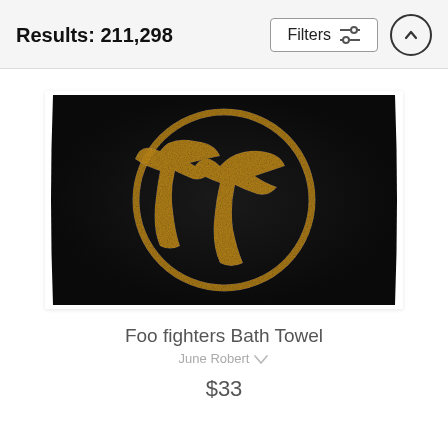Results: 211,298
Filters
[Figure (photo): A black bath towel featuring the Foo Fighters logo — two overlapping golden glittery cursive 'FF' letters inside a gold glittery circle outline, on a black background.]
Foo fighters Bath Towel
June Robert ♡
$33